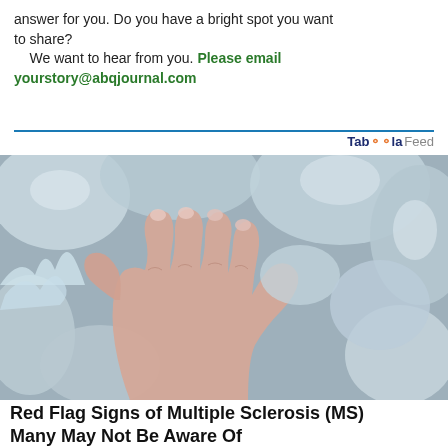answer for you. Do you have a bright spot you want to share?
    We want to hear from you. Please email yourstory@abqjournal.com
[Figure (photo): A human hand resting on crushed ice, with ice surrounding the fingers and palm. The image is associated with a Taboola sponsored content article about Multiple Sclerosis.]
Taboola Feed
Red Flag Signs of Multiple Sclerosis (MS) Many May Not Be Aware Of